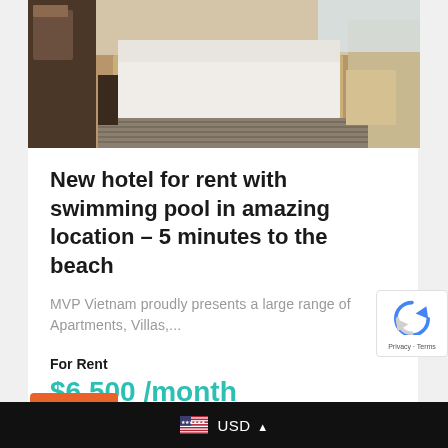[Figure (photo): Hotel room interior showing a large bed with white linens, hardwood floors, striped area rug, and modern furnishings with a window in background]
New hotel for rent with swimming pool in amazing location – 5 minutes to the beach
MVP Vietnam proudly presents a large range of Apartments, Villas,...
For Rent
$6,500 /month
USD